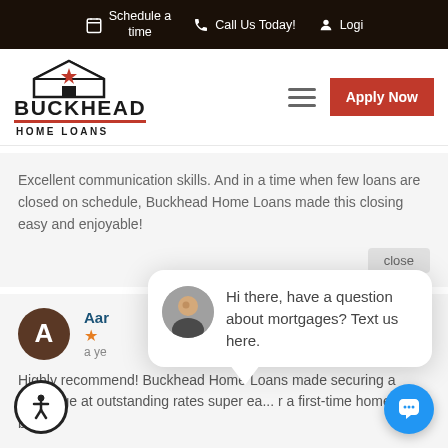Schedule a time | Call Us Today! | Logi
[Figure (logo): Buckhead Home Loans logo with house icon and red star]
Excellent communication skills. And in a time when few loans are closed on schedule, Buckhead Home Loans made this closing easy and enjoyable!
close
[Figure (other): Reviewer avatar circle with letter A, reviewer name starting with Aar, 1 star rating, reviewed a year ago]
[Figure (infographic): Chat popup bubble with person avatar saying: Hi there, have a question about mortgages? Text us here.]
Highly recommend! Buckhead Home Loans made securing a mortgage at outstanding rates super ea... r a first-time home buyer!